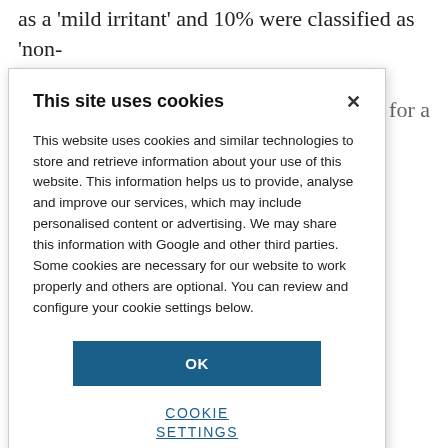as a 'mild irritant' and 10% were classified as 'non-irritant'. W...rnative method ...he the call for a
-use of animal irritation data abase, but more This means that h database has for eye irritation nces had been substances had ndous waste of
[Figure (screenshot): Cookie consent dialog overlay with title 'This site uses cookies', body text about cookies and privacy, an OK button, and a COOKIE SETTINGS link.]